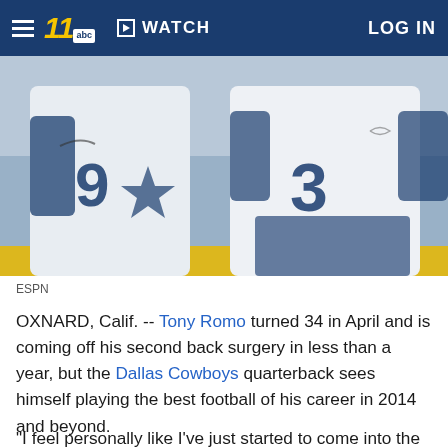WATCH   LOG IN
[Figure (photo): Two Dallas Cowboys players in white jerseys with navy numbers (9 and 3) at practice, appearing to be Tony Romo and another player, with a yellow barrier in the background.]
ESPN
OXNARD, Calif. -- Tony Romo turned 34 in April and is coming off his second back surgery in less than a year, but the Dallas Cowboys quarterback sees himself playing the best football of his career in 2014 and beyond.
"I feel personally like I've just started to come into the